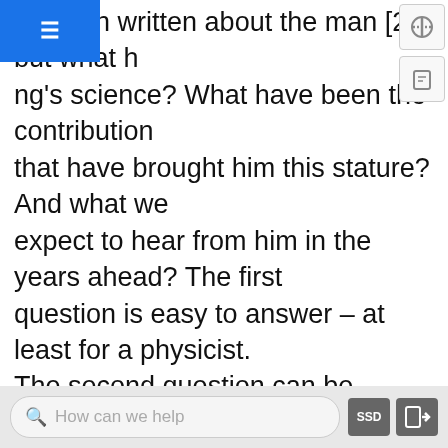as been written about the man [2], but what about Hawking's science? What have been the contributions that have brought him this stature? And what can we expect to hear from him in the years ahead? The first question is easy to answer – at least for a physicist. The second question can be answered on several levels – his contributions to the creation of knowledge itself, and his role as being one of the preeminent spokespersons of his science to western society. The last question is one that I suspect Hawking himself would love to know the answer to. In addressing these questions, I'm going to embed in the story some of the basic physics that you need to appreciate to understand Hawking's science. It is a story about black holes, creation and time's arrow. I hope they will help enlighten those readers who wouldn't know a black